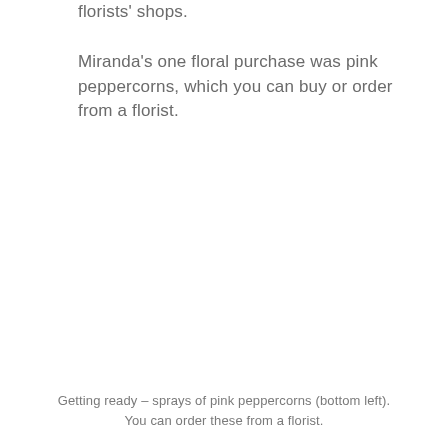florists' shops.
Miranda's one floral purchase was pink peppercorns, which you can buy or order from a florist.
Getting ready – sprays of pink peppercorns (bottom left). You can order these from a florist.